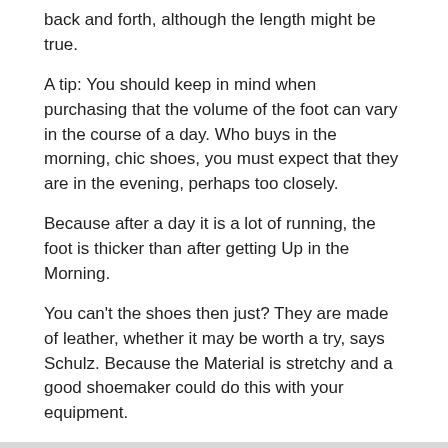back and forth, although the length might be true.
A tip: You should keep in mind when purchasing that the volume of the foot can vary in the course of a day. Who buys in the morning, chic shoes, you must expect that they are in the evening, perhaps too closely.
Because after a day it is a lot of running, the foot is thicker than after getting Up in the Morning.
You can't the shoes then just? They are made of leather, whether it may be worth a try, says Schulz. Because the Material is stretchy and a good shoemaker could do this with your equipment.
“But I would always be careful, because it has spoiled a Shoe so quickly,” warns Schulz.
This website uses cookies to improve your user experience and to provide you with advertisements that are relevant to your interests. By continuing to browse the site you are agreeing to our use of cookies.
BLISTER PLASTERS AT THE READY HAVE